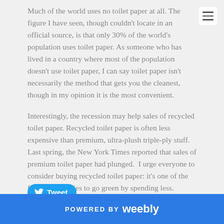Much of the world uses no toilet paper at all. The figure I have seen, though couldn't locate in an official source, is that only 30% of the world's population uses toilet paper. As someone who has lived in a country where most of the population doesn't use toilet paper, I can say toilet paper isn't necessarily the method that gets you the cleanest, though in my opinion it is the most convenient.
Interestingly, the recession may help sales of recycled toilet paper. Recycled toilet paper is often less expensive than premium, ultra-plush triple-ply stuff. Last spring, the New York Times reported that sales of premium toilet paper had plunged. I urge everyone to consider buying recycled toilet paper: it's one of the few opportunities to go green by spending less.
[Figure (other): Tweet button with Twitter bird icon]
0 Comments
POWERED BY weebly